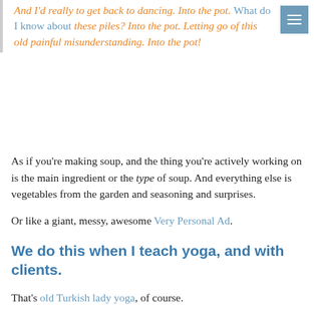And I'd really to get back to dancing. Into the pot. What do I know about these piles? Into the pot. Letting go of this old painful misunderstanding. Into the pot!
As if you're making soup, and the thing you're actively working on is the main ingredient or the type of soup. And everything else is vegetables from the garden and seasoning and surprises.
Or like a giant, messy, awesome Very Personal Ad.
We do this when I teach yoga, and with clients.
That's old Turkish lady yoga, of course.
We just throw it all into the pot.